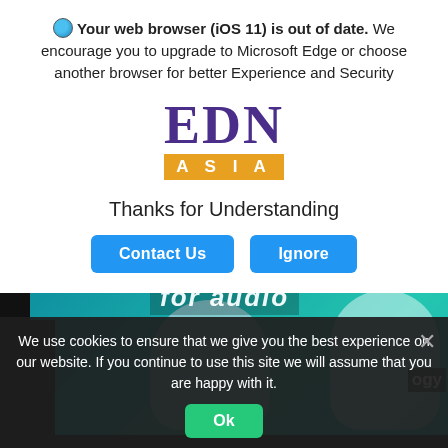Your web browser (iOS 11) is out of date. We encourage you to upgrade to Microsoft Edge or choose another browser for better Experience and Security
[Figure (logo): EDN ASIA logo — large purple serif letters 'EDN' with orange bar underneath reading 'ASIA']
Thanks for Understanding
Contact Us   Ignore
[Figure (photo): Background website content showing two children wearing headphones against a teal/cyan audio-themed background with partial text 'for audio' and 'ogy' visible]
We use cookies to ensure that we give you the best experience on our website. If you continue to use this site we will assume that you are happy with it.
Ok